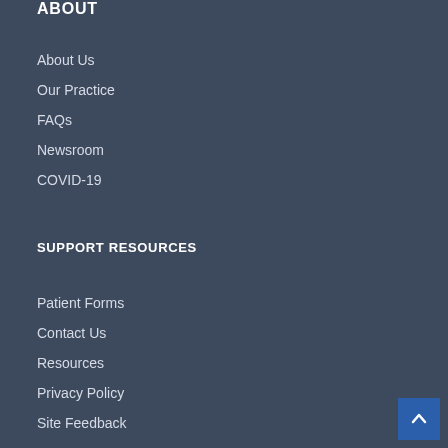ABOUT
About Us
Our Practice
FAQs
Newsroom
COVID-19
SUPPORT RESOURCES
Patient Forms
Contact Us
Resources
Privacy Policy
Site Feedback